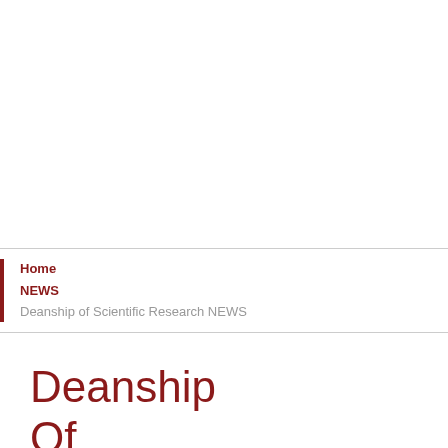Home / NEWS / Deanship of Scientific Research NEWS
Deanship Of Scientific Research NEWS